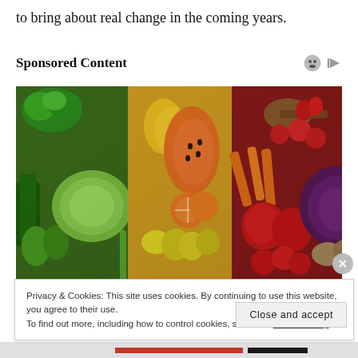to bring about real change in the coming years.
Sponsored Content
[Figure (photo): Colorful array of fresh fruits and vegetables arranged in a rainbow pattern including broccoli, cabbage, papaya, carrots, peppers, tomatoes, oranges, apples, and red cabbage.]
Privacy & Cookies: This site uses cookies. By continuing to use this website, you agree to their use.
To find out more, including how to control cookies, see here: Cookie Policy
Close and accept